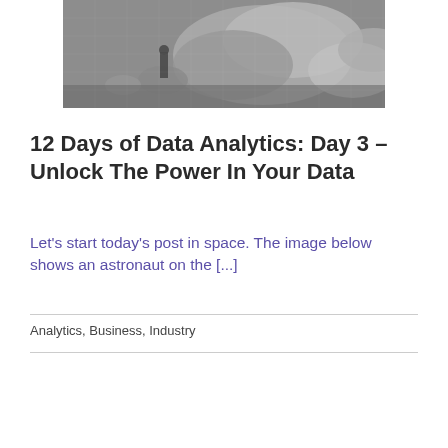[Figure (photo): Black and white photograph of an astronaut on a rocky lunar surface with large rocks visible]
12 Days of Data Analytics: Day 3 – Unlock The Power In Your Data
Let's start today's post in space. The image below shows an astronaut on the [...]
Analytics, Business, Industry